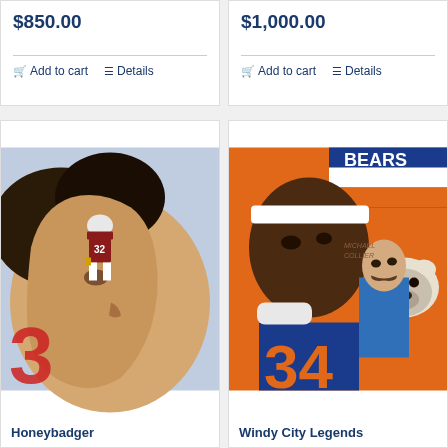$850.00
Add to cart
Details
$1,000.00
Add to cart
Details
[Figure (photo): Painting of Arizona Cardinals player #32 standing on a field with a large face in profile in the background — Honeybadger art print]
Honeybadger
[Figure (photo): Painting of Chicago Bears #34 Walter Payton with a coach in the background and Bears logo — Windy City Legends art print]
Windy City Legends